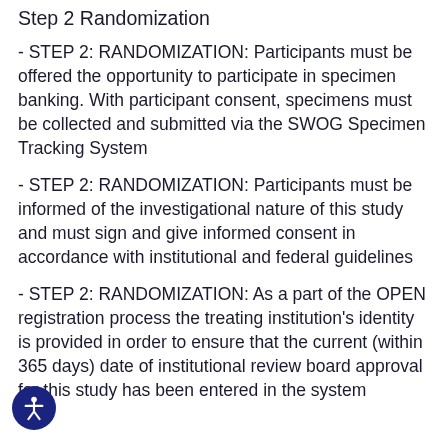Step 2 Randomization
- STEP 2: RANDOMIZATION: Participants must be offered the opportunity to participate in specimen banking. With participant consent, specimens must be collected and submitted via the SWOG Specimen Tracking System
- STEP 2: RANDOMIZATION: Participants must be informed of the investigational nature of this study and must sign and give informed consent in accordance with institutional and federal guidelines
- STEP 2: RANDOMIZATION: As a part of the OPEN registration process the treating institution's identity is provided in order to ensure that the current (within 365 days) date of institutional review board approval for this study has been entered in the system